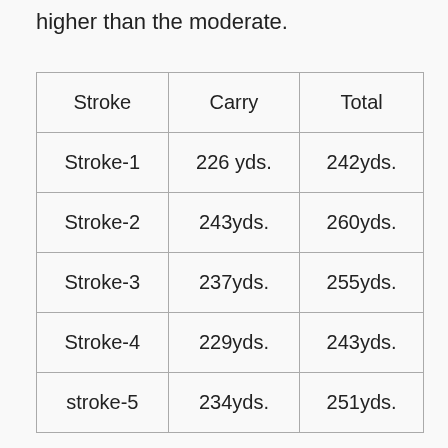higher than the moderate.
| Stroke | Carry | Total |
| --- | --- | --- |
| Stroke-1 | 226 yds. | 242yds. |
| Stroke-2 | 243yds. | 260yds. |
| Stroke-3 | 237yds. | 255yds. |
| Stroke-4 | 229yds. | 243yds. |
| stroke-5 | 234yds. | 251yds. |